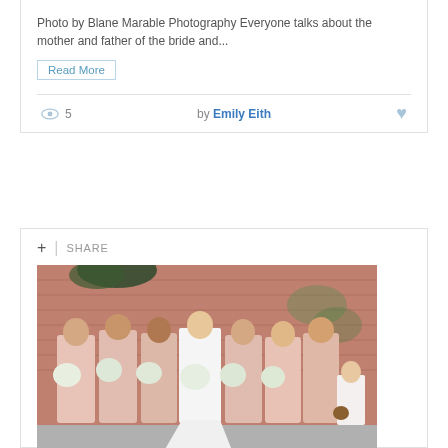Photo by Blane Marable Photography Everyone talks about the mother and father of the bride and...
Read More
5  by Emily Eith
+ | SHARE
[Figure (photo): Wedding party photo with bride in white gown with long train and bridesmaids in pink dresses holding white floral bouquets, posed in front of a brick wall. A young flower girl in white dress is on the right side.]